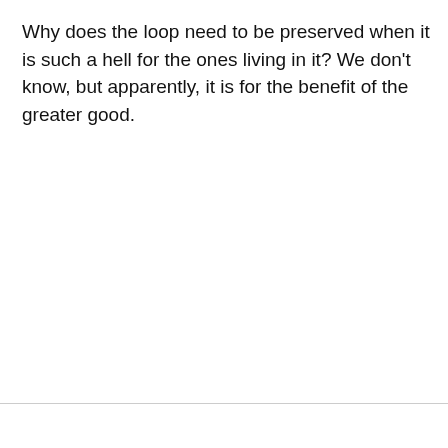Why does the loop need to be preserved when it is such a hell for the ones living in it? We don't know, but apparently, it is for the benefit of the greater good.